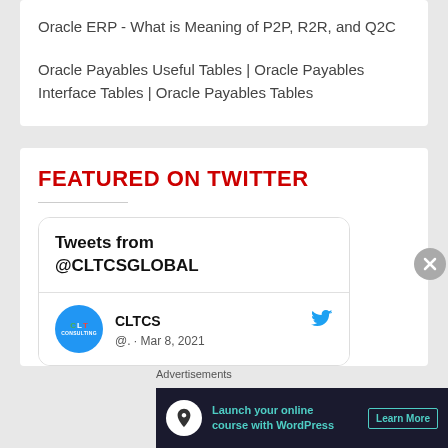Oracle ERP - What is Meaning of P2P, R2R, and Q2C
Oracle Payables Useful Tables | Oracle Payables Interface Tables | Oracle Payables Tables
FEATURED ON TWITTER
[Figure (screenshot): Twitter widget showing Tweets from @CLTCSGLOBAL with a tweet from CLTCS account dated Mar 8, 2021]
Advertisements
[Figure (infographic): Advertisement banner: Launch your online course with WordPress - Learn More]